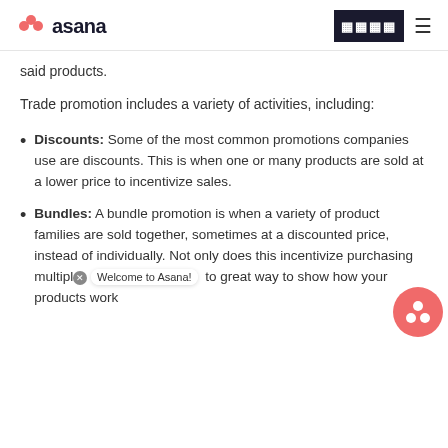asana
said products.
Trade promotion includes a variety of activities, including:
Discounts: Some of the most common promotions companies use are discounts. This is when one or many products are sold at a lower price to incentivize sales.
Bundles: A bundle promotion is when a variety of product families are sold together, sometimes at a discounted price, instead of individually. Not only does this incentivize purchasing multiple products, it’s also a great way to show how your products work